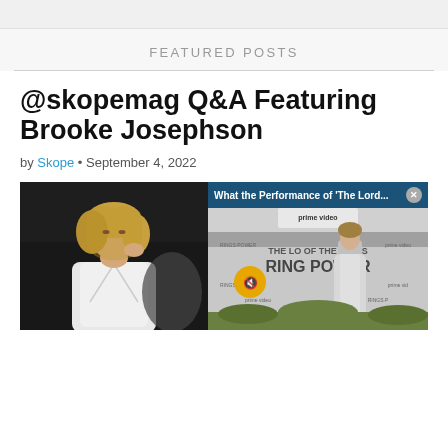FEATURED POSTS
@skopemag Q&A Featuring Brooke Josephson
by Skope • September 4, 2022
[Figure (photo): Portrait of Brooke Josephson in white blazer against dark background]
[Figure (screenshot): Video overlay: 'What the Performance of The Lord...' with close button, showing a woman in silver gown at Rings of Power premiere on Amazon Prime Video red carpet backdrop]